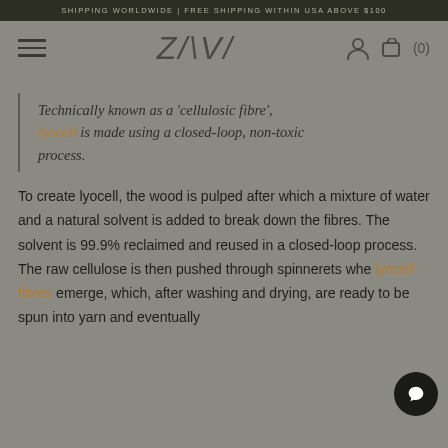SHIPPING WORLDWIDE | FREE SHIPPING WITHIN USA ABOVE $100
[Figure (logo): ZAVI brand logo with hamburger menu, user icon, and cart (0)]
Technically known as a 'cellulosic fibre', Lyocell is made using a closed-loop, non-toxic process.
To create lyocell, the wood is pulped after which a mixture of water and a natural solvent is added to break down the fibres. The solvent is 99.9% reclaimed and reused in a closed-loop process. The raw cellulose is then pushed through spinnerets whe lyocell fibres emerge, which, after washing and drying, are ready to be spun into yarn and eventually